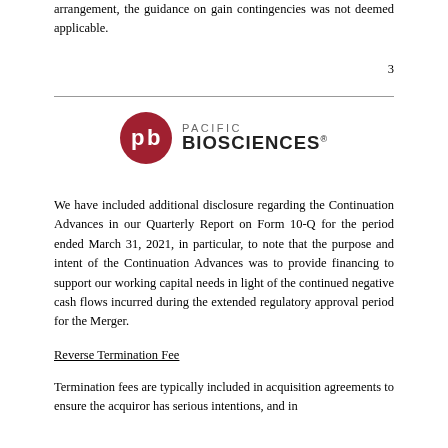arrangement, the guidance on gain contingencies was not deemed applicable.
3
[Figure (logo): Pacific Biosciences logo — red circular PB icon with PACIFIC BIOSCIENCES text]
We have included additional disclosure regarding the Continuation Advances in our Quarterly Report on Form 10-Q for the period ended March 31, 2021, in particular, to note that the purpose and intent of the Continuation Advances was to provide financing to support our working capital needs in light of the continued negative cash flows incurred during the extended regulatory approval period for the Merger.
Reverse Termination Fee
Termination fees are typically included in acquisition agreements to ensure the acquiror has serious intentions, and in